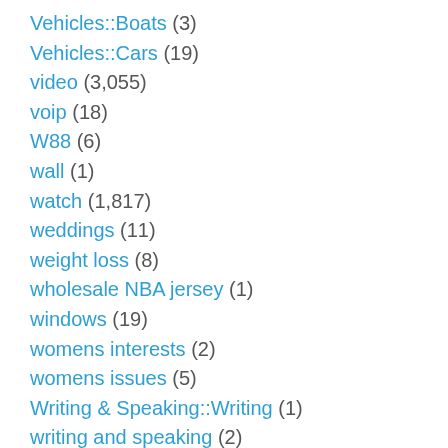Vehicles::Boats (3)
Vehicles::Cars (19)
video (3,055)
voip (18)
W88 (6)
wall (1)
watch (1,817)
weddings (11)
weight loss (8)
wholesale NBA jersey (1)
windows (19)
womens interests (2)
womens issues (5)
Writing & Speaking::Writing (1)
writing and speaking (2)